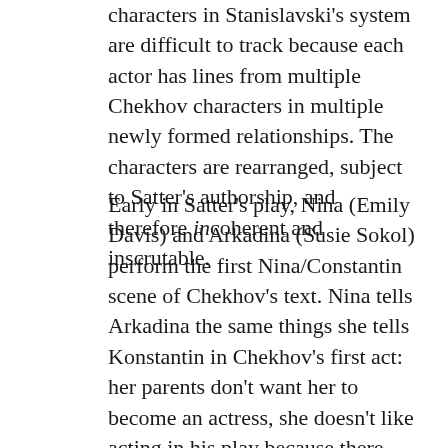characters in Stanislavski's system are difficult to track because each actor has lines from multiple Chekhov characters in multiple newly formed relationships. The characters are rearranged, subject to Satter's authorship, and therefore incoherent and inscrutable.
Early in Satter's play, Nina (Emily Davis) and Arkadina (Susie Sokol) perform the first Nina/Constantin scene of Chekhov's text. Nina tells Arkadina the same things she tells Konstantin in Chekhov's first act: her parents don't want her to become an actress, she doesn't like acting in his play because there aren't any living people in it, nothing happens in it. The heterosexual narrative of Chekhov's text shifts into a queer, homosocial space. Further, the conversation exists between Nina/Arkadina,